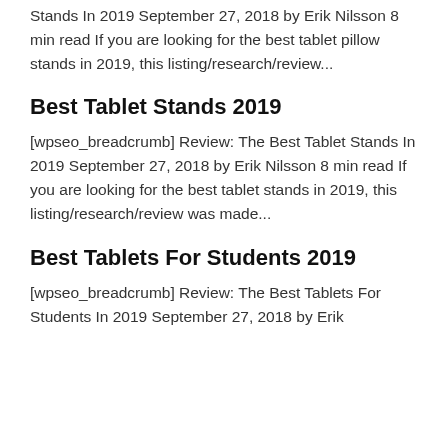Stands In 2019 September 27, 2018 by Erik Nilsson 8 min read If you are looking for the best tablet pillow stands in 2019, this listing/research/review...
Best Tablet Stands 2019
[wpseo_breadcrumb] Review: The Best Tablet Stands In 2019 September 27, 2018 by Erik Nilsson 8 min read If you are looking for the best tablet stands in 2019, this listing/research/review was made...
Best Tablets For Students 2019
[wpseo_breadcrumb] Review: The Best Tablets For Students In 2019 September 27, 2018 by Erik